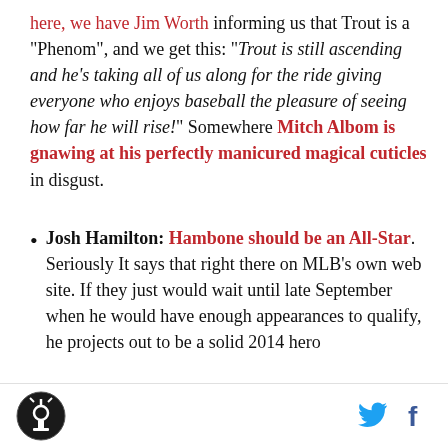here, we have Jim Worth informing us that Trout is a "Phenom", and we get this: "Trout is still ascending and he's taking all of us along for the ride giving everyone who enjoys baseball the pleasure of seeing how far he will rise!" Somewhere Mitch Albom is gnawing at his perfectly manicured magical cuticles in disgust.
Josh Hamilton: Hambone should be an All-Star. Seriously It says that right there on MLB's own web site. If they just would wait until late September when he would have enough appearances to qualify, he projects out to be a solid 2014 hero
Logo | Twitter | Facebook